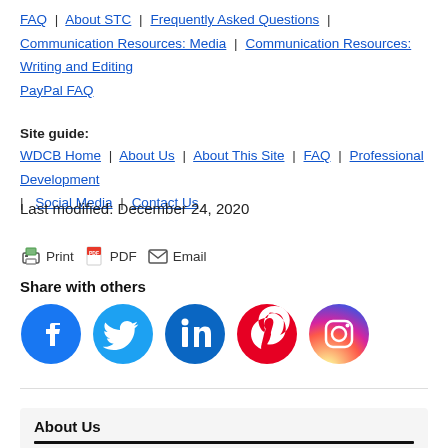FAQ | About STC | Frequently Asked Questions | Communication Resources: Media | Communication Resources: Writing and Editing | PayPal FAQ
Site guide:
WDCB Home | About Us | About This Site | FAQ | Professional Development | Social Media | Contact Us
Last modified: December 24, 2020
Print  PDF  Email
Share with others
[Figure (illustration): Social media share icons: Facebook, Twitter, LinkedIn, Pinterest, Instagram]
About Us